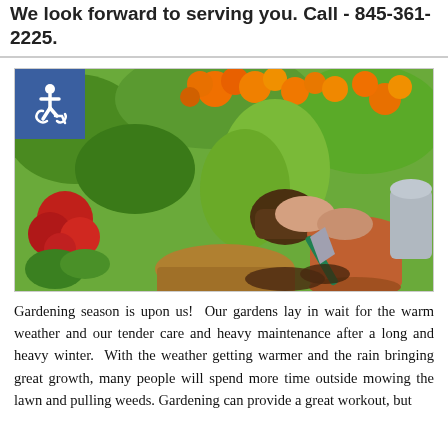We look forward to serving you. Call - 845-361-2225.
[Figure (photo): Person planting flowers in a terracotta pot surrounded by colorful flowers including orange marigolds and red dahlias, with a garden trowel and watering can visible. An accessibility/wheelchair symbol badge is overlaid in the upper left corner.]
Gardening season is upon us!  Our gardens lay in wait for the warm weather and our tender care and heavy maintenance after a long and heavy winter.  With the weather getting warmer and the rain bringing great growth, many people will spend more time outside mowing the lawn and pulling weeds. Gardening can provide a great workout, but